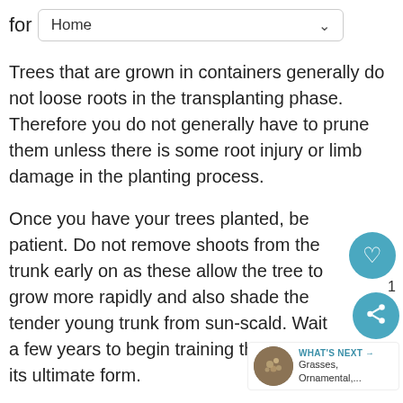for Home
Trees that are grown in containers generally do not loose roots in the transplanting phase. Therefore you do not generally have to prune them unless there is some root injury or limb damage in the planting process.
Once you have your trees planted, be patient. Do not remove shoots from the trunk early on as these allow the tree to grow more rapidly and also shade the tender young trunk from sun-scald. Wait a few years to begin training the tree to its ultimate form.
How-to : Staking Trees